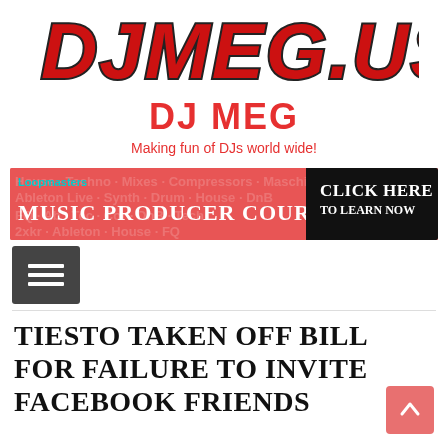[Figure (logo): DJMEG.US logo in bold red italic letters with dark outline/shadow on white background]
DJ MEG
Making fun of DJs world wide!
[Figure (infographic): Loopmasters Music Producer Courses banner ad with pink/red background, white bold text on left reading MUSIC PRODUCER COURSES, black panel on right reading CLICK HERE TO LEARN NOW]
[Figure (other): Hamburger menu icon button (three horizontal lines) on dark grey square background]
TIESTO TAKEN OFF BILL FOR FAILURE TO INVITE FACEBOOK FRIENDS